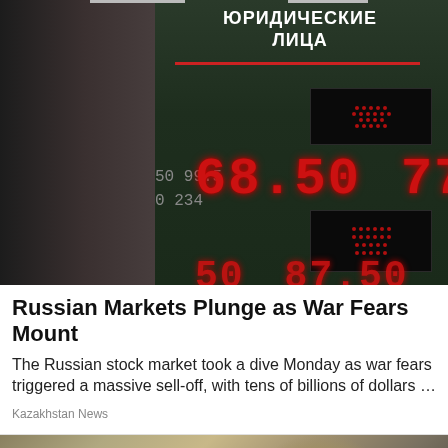[Figure (photo): A woman looking at her phone stands in front of a currency exchange board showing rates: 68.50 and 77.50 in large red LED numbers, with Cyrillic text ЮРИДИЧЕСКИЕ ЛИЦА at the top of the board.]
Russian Markets Plunge as War Fears Mount
The Russian stock market took a dive Monday as war fears triggered a massive sell-off, with tens of billions of dollars …
Kazakhstan News
[Figure (photo): A close-up photo of a cat lying down, eyes mostly closed, being petted by a person's hand.]